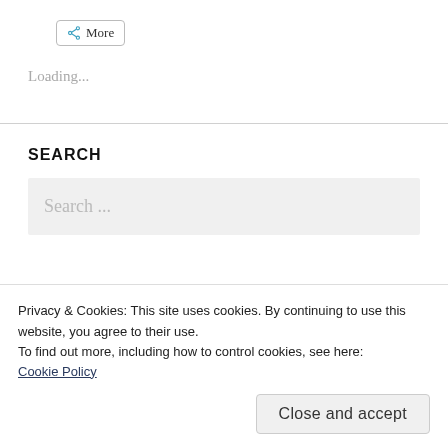[Figure (other): Share button with share icon and 'More' label]
Loading...
SEARCH
[Figure (other): Search input box with placeholder text 'Search ...']
Privacy & Cookies: This site uses cookies. By continuing to use this website, you agree to their use.
To find out more, including how to control cookies, see here: Cookie Policy
Close and accept